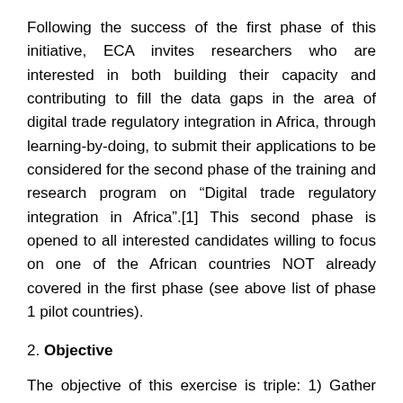Following the success of the first phase of this initiative, ECA invites researchers who are interested in both building their capacity and contributing to fill the data gaps in the area of digital trade regulatory integration in Africa, through learning-by-doing, to submit their applications to be considered for the second phase of the training and research program on “Digital trade regulatory integration in Africa”.[1] This second phase is opened to all interested candidates willing to focus on one of the African countries NOT already covered in the first phase (see above list of phase 1 pilot countries).
2. Objective
The objective of this exercise is triple: 1) Gather and provide information on digital trade regulatory